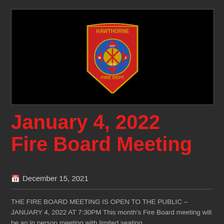[Figure (logo): Hawthorne Fire Department badge/shield logo on black background. Red shield shape with blue Maltese cross, gold text reading HAWTHORNE at top, FIRE DEPT at bottom, EST 1916, NJ on left and right.]
January 4, 2022 Fire Board Meeting
December 15, 2021
THE FIRE BOARD MEETING IS OPEN TO THE PUBLIC – JANUARY 4, 2022 AT 7:30PM This month's Fire Board meeting will be an in person meeting with limited seating